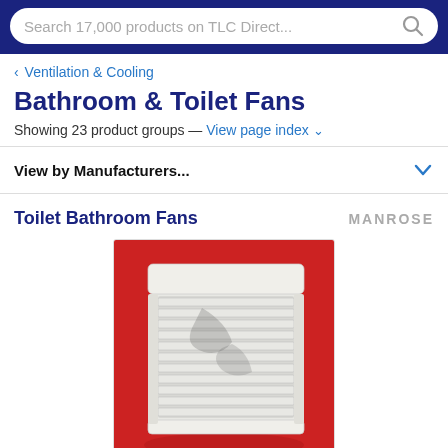Search 17,000 products on TLC Direct...
< Ventilation & Cooling
Bathroom & Toilet Fans
Showing 23 product groups — View page index ▾
View by Manufacturers...
Toilet Bathroom Fans
[Figure (photo): White louvred bathroom extractor fan mounted against a red background, showing horizontal slat grille design with a white square housing.]